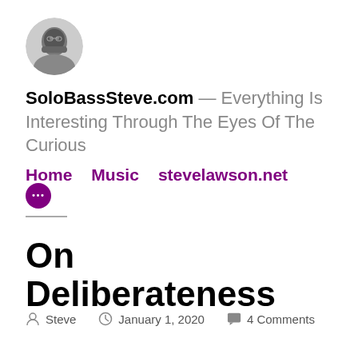[Figure (photo): Circular avatar/profile photo of a person, black and white]
SoloBassSteve.com — Everything Is Interesting Through The Eyes Of The Curious
Home   Music   stevelawson.net   •••
On Deliberateness
Steve   January 1, 2020   4 Comments